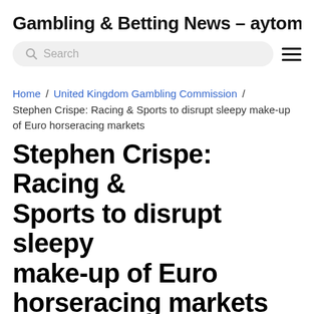Gambling & Betting News – aytomallen.co
[Figure (screenshot): Search bar with magnifying glass icon and placeholder text 'Search', followed by a hamburger menu icon]
Home / United Kingdom Gambling Commission / Stephen Crispe: Racing & Sports to disrupt sleepy make-up of Euro horseracing markets
Stephen Crispe: Racing & Sports to disrupt sleepy make-up of Euro horseracing markets
June 8, 2022  5 mins read  United Kingdom Gambling